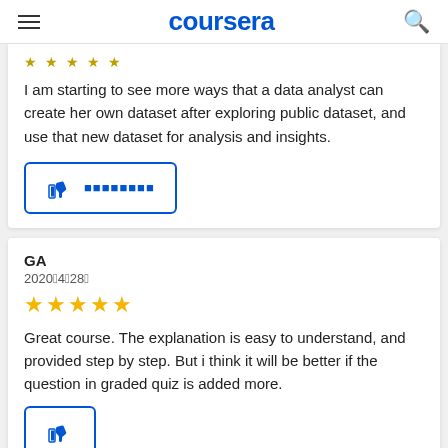coursera
I am starting to see more ways that a data analyst can create her own dataset after exploring public dataset, and use that new dataset for analysis and insights.
[Figure (infographic): Thumbs up helpful button with blue border and encoded text]
GA
2020年4月28日
★★★★★
Great course. The explanation is easy to understand, and provided step by step. But i think it will be better if the question in graded quiz is added more.